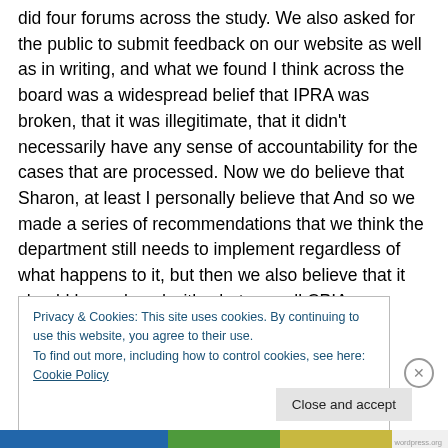did four forums across the study. We also asked for the public to submit feedback on our website as well as in writing, and what we found I think across the board was a widespread belief that IPRA was broken, that it was illegitimate, that it didn't necessarily have any sense of accountability for the cases that are processed. Now we do believe that Sharon, at least I personally believe that And so we made a series of recommendations that we think the department still needs to implement regardless of what happens to it, but then we also believe that it should be replaced with what we call CPIA, so Civilian Police
Privacy & Cookies: This site uses cookies. By continuing to use this website, you agree to their use.
To find out more, including how to control cookies, see here: Cookie Policy
Close and accept